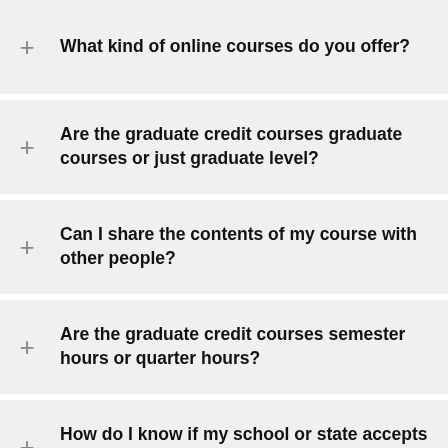What kind of online courses do you offer?
Are the graduate credit courses graduate courses or just graduate level?
Can I share the contents of my course with other people?
Are the graduate credit courses semester hours or quarter hours?
How do I know if my school or state accepts your courses?
How long do I have to complete the